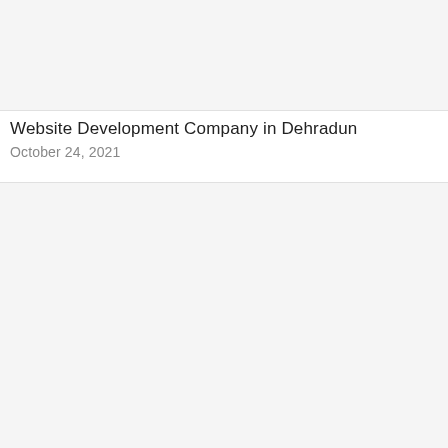[Figure (photo): Top image placeholder area, light gray background]
Website Development Company in Dehradun
October 24, 2021
[Figure (photo): Bottom image placeholder area, light gray background]